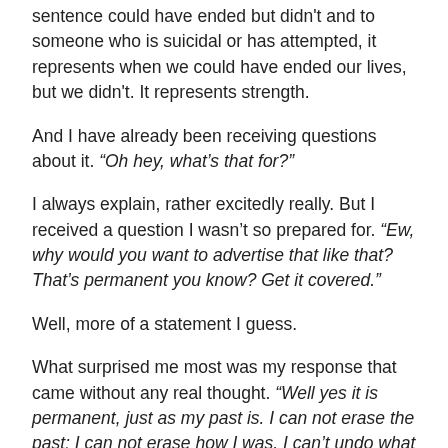sentence could have ended but didn't and to someone who is suicidal or has attempted, it represents when we could have ended our lives, but we didn't. It represents strength.
And I have already been receiving questions about it. “Oh hey, what’s that for?”
I always explain, rather excitedly really. But I received a question I wasn’t so prepared for. “Ew, why would you want to advertise that like that? That’s permanent you know? Get it covered.”
Well, more of a statement I guess.
What surprised me most was my response that came without any real thought. “Well yes it is permanent, just as my past is. I can not erase the past; I can not erase how I was. I can’t undo what I felt. And I am a proud survivor. Because I got through something I thought I never would.”